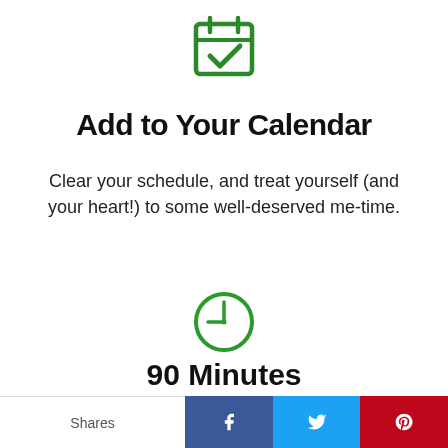[Figure (illustration): Green calendar icon with a checkmark]
Add to Your Calendar
Clear your schedule, and treat yourself (and your heart!) to some well-deserved me-time.
[Figure (illustration): Green clock icon showing approximately 9 o'clock]
90 Minutes
Schedule approximately 90 minutes of quiet time
Shares  f  t  P